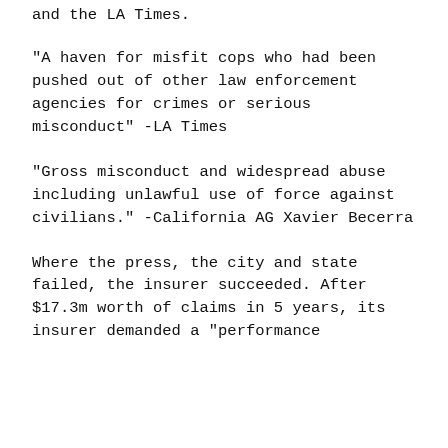and the LA Times.
"A haven for misfit cops who had been pushed out of other law enforcement agencies for crimes or serious misconduct" -LA Times
"Gross misconduct and widespread abuse including unlawful use of force against civilians." -California AG Xavier Becerra
Where the press, the city and state failed, the insurer succeeded. After $17.3m worth of claims in 5 years, its insurer demanded a "performance improvement" from Hesperia PD.